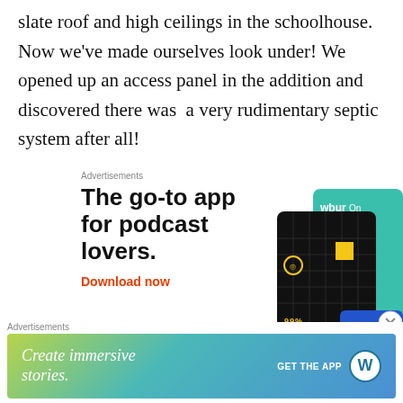slate roof and high ceilings in the schoolhouse. Now we've made ourselves look under! We opened up an access panel in the addition and discovered there was a very rudimentary septic system after all!
[Figure (illustration): Advertisement for 99% Invisible podcast app - shows bold text 'The go-to app for podcast lovers.' with 'Download now' in red, and app interface mockup cards on the right.]
[Figure (illustration): Advertisement banner for WordPress with gradient background and text 'Create immersive stories.' with 'GET THE APP' and WordPress logo.]